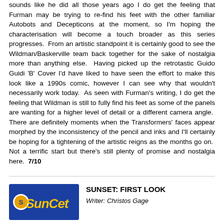sounds like he did all those years ago I do get the feeling that Furman may be trying to re-find his feet with the other familiar Autobots and Decepticons at the moment, so I'm hoping the characterisation will become a touch broader as this series progresses.  From an artistic standpoint it is certainly good to see the Wildman/Baskerville team back together for the sake of nostalgia more than anything else.  Having picked up the retrotastic Guido Guidi 'B' Cover I'd have liked to have seen the effort to make this look like a 1990s comic, however I can see why that wouldn't necessarily work today.  As seen with Furman's writing, I do get the feeling that Wildman is still to fully find his feet as some of the panels are wanting for a higher level of detail or a different camera angle.  There are definitely moments when the Transformers' faces appear morphed by the inconsistency of the pencil and inks and I'll certainly be hoping for a tightening of the artistic reigns as the months go on.  Not a terrific start but there's still plenty of promise and nostalgia here.  7/10
[Figure (logo): Sunset magazine logo — blue rectangle with yellow italic text reading 'SunSet' and a small circular icon on the left]
SUNSET: FIRST LOOK
Writer: Christos Gage